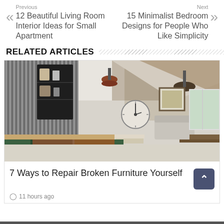Previous
12 Beautiful Living Room Interior Ideas for Small Apartment
Next
15 Minimalist Bedroom Designs for People Who Like Simplicity
RELATED ARTICLES
[Figure (photo): Interior photo of a rustic barn kitchen with corrugated metal wall, wooden cabinets, pendant lights, exposed wooden beams on high ceiling, large wall clock, and sitting area in background]
7 Ways to Repair Broken Furniture Yourself
11 hours ago